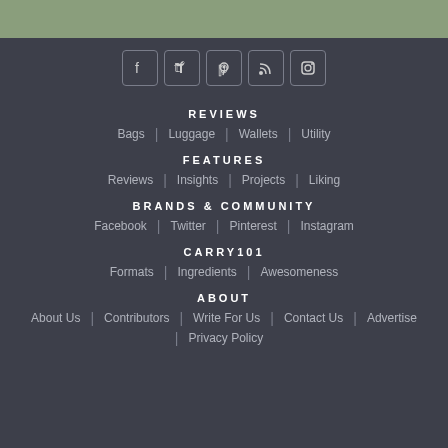[Figure (other): Row of 5 social media icon buttons: Facebook (f), Twitter (bird), Pinterest (p), RSS, Instagram (camera)]
REVIEWS
Bags | Luggage | Wallets | Utility
FEATURES
Reviews | Insights | Projects | Liking
BRANDS & COMMUNITY
Facebook | Twitter | Pinterest | Instagram
CARRY101
Formats | Ingredients | Awesomeness
ABOUT
About Us | Contributors | Write For Us | Contact Us | Advertise | Privacy Policy